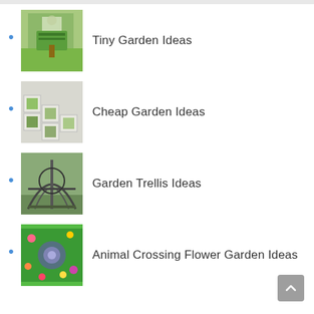Tiny Garden Ideas
Cheap Garden Ideas
Garden Trellis Ideas
Animal Crossing Flower Garden Ideas